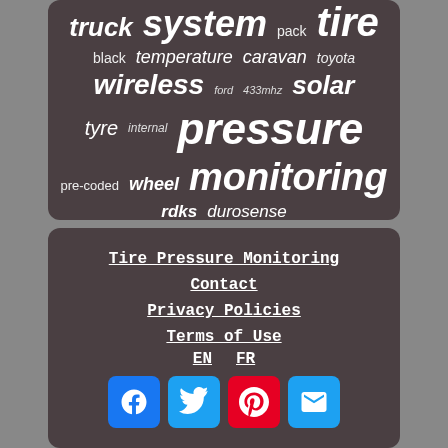[Figure (infographic): Word cloud on dark brownish-grey rounded rectangle background. Words: truck, system, pack, tire (very large bold italic), black, temperature, caravan, toyota, wireless, ford, 433mhz, solar, tyre, internal, pressure (very large bold italic), pre-coded, wheel, monitoring (very large bold italic), rdks, durosense]
Tire Pressure Monitoring
Contact
Privacy Policies
Terms of Use
EN   FR
[Facebook] [Twitter] [Pinterest] [Email]